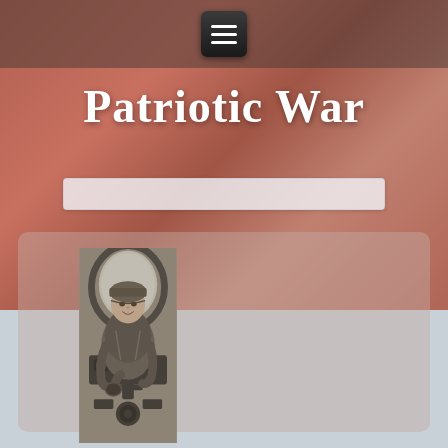Patriotic War
[Figure (other): Search bar input field]
[Figure (photo): Black and white photograph of a World War II pilot or airman sitting in the cockpit of an aircraft, smiling, wearing a leather flight jacket and flight helmet, with the aircraft's instrument panel and cockpit frame visible]